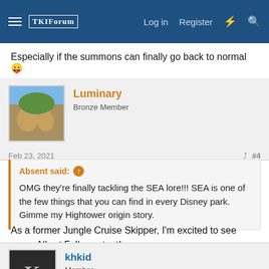TKIForum navigation bar with Log in, Register, and search icons
Especially if the summons can finally go back to normal 😛
Luminary
Bronze Member
Feb 23, 2021 #4
Absent said: ↑
OMG they're finally tackling the SEA lore!!! SEA is one of the few things that you can find in every Disney park. Gimme my Hightower origin story.
As a former Jungle Cruise Skipper, I'm excited to see some Albert Falls content!
khkid
Member